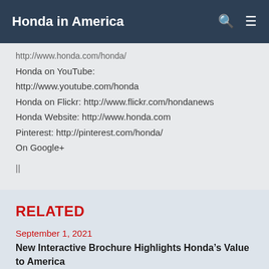Honda in America
http://www.honda.com/honda/ [truncated]
Honda on YouTube:
http://www.youtube.com/honda
Honda on Flickr: http://www.flickr.com/hondanews
Honda Website: http://www.honda.com
Pinterest: http://pinterest.com/honda/
On Google+
||
RELATED
September 1, 2021
New Interactive Brochure Highlights Honda’s Value to America